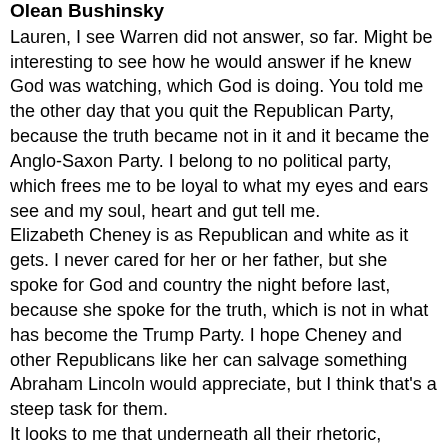Olean Bushinsky
Lauren, I see Warren did not answer, so far. Might be interesting to see how he would answer if he knew God was watching, which God is doing. You told me the other day that you quit the Republican Party, because the truth became not in it and it became the Anglo-Saxon Party. I belong to no political party, which frees me to be loyal to what my eyes and ears see and my soul, heart and gut tell me.
Elizabeth Cheney is as Republican and white as it gets. I never cared for her or her father, but she spoke for God and country the night before last, because she spoke for the truth, which is not in what has become the Trump Party. I hope Cheney and other Republicans like her can salvage something Abraham Lincoln would appreciate, but I think that's a steep task for them.
It looks to me that underneath all their rhetoric,